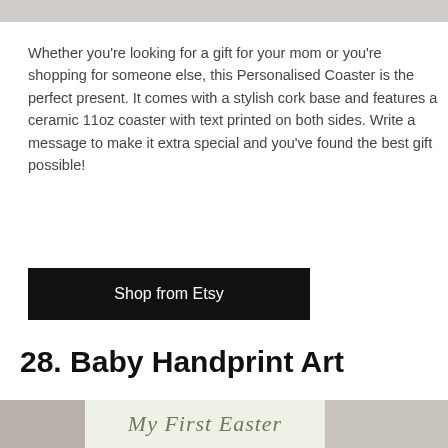[Figure (photo): Top portion of a product photo, cropped at the top of the page]
Whether you're looking for a gift for your mom or you're shopping for someone else, this Personalised Coaster is the perfect present. It comes with a stylish cork base and features a ceramic 11oz coaster with text printed on both sides. Write a message to make it extra special and you've found the best gift possible!
Shop from Etsy
28. Baby Handprint Art
[Figure (photo): Bottom portion of a baby handprint art product photo showing a light green card with cursive text 'My First Easter']